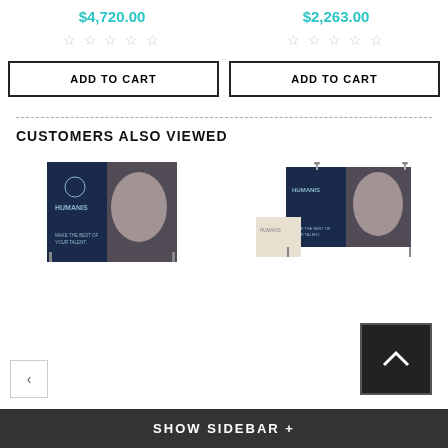$4,720.00
$2,263.00
☆☆☆☆☆
☆☆☆☆☆
ADD TO CART
ADD TO CART
CUSTOMERS ALSO VIEWED
[Figure (photo): Trade show display with Humanis branding - flat banner display]
[Figure (photo): Trade show display with Humanis branding - popup display with podium]
SHOW SIDEBAR +